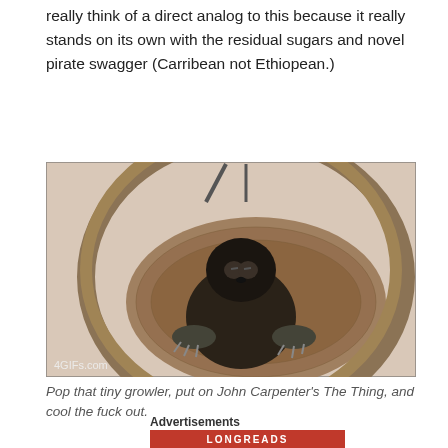really think of a direct analog to this because it really stands on its own with the residual sugars and novel pirate swagger (Carribean not Ethiopean.)
[Figure (photo): A sloth sitting in a woven hammock or hanging basket chair, eyes half-closed, arms resting on the edge. Watermark reads '4GIFs.com' in the lower-left corner.]
Pop that tiny growler, put on John Carpenter's The Thing, and cool the fuck out.
Advertisements